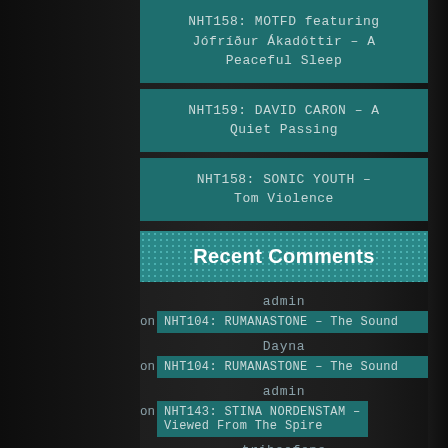NHT158: MOTFD featuring Jófríður Ákadóttir – A Peaceful Sleep
NHT159: DAVID CARON – A Quiet Passing
NHT158: SONIC YOUTH – Tom Violence
Recent Comments
admin
on NHT104: RUMANASTONE – The Sound
Dayna
on NHT104: RUMANASTONE – The Sound
admin
on NHT143: STINA NORDENSTAM – Viewed From The Spire
tribeofone
on NHT143: STINA NORDENSTAM –